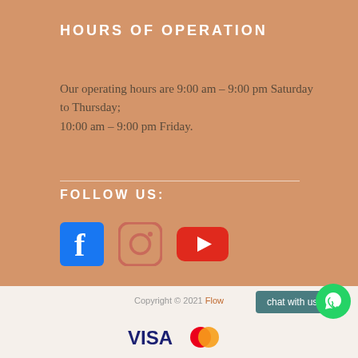HOURS OF OPERATION
Our operating hours are 9:00 am – 9:00 pm Saturday to Thursday; 10:00 am – 9:00 pm Friday.
FOLLOW US:
[Figure (illustration): Social media icons: Facebook (blue), Instagram (outline/pink), YouTube (red)]
Copyright © 2021 Flow
[Figure (logo): VISA and Mastercard payment logos]